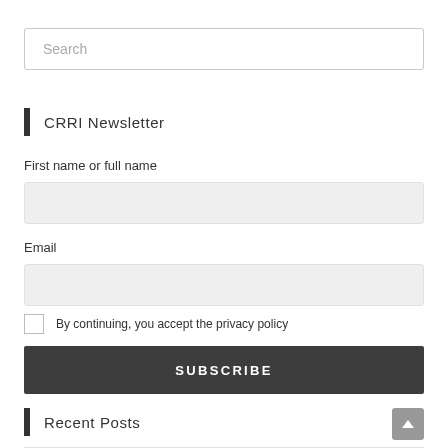Search
CRRI Newsletter
First name or full name
Email
By continuing, you accept the privacy policy
SUBSCRIBE
Recent Posts